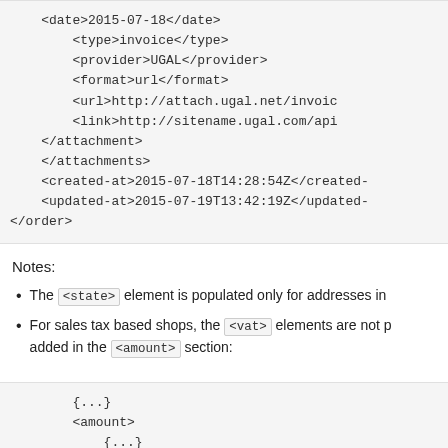<date>2015-07-18</date>
            <type>invoice</type>
            <provider>UGAL</provider>
            <format>url</format>
            <url>http://attach.ugal.net/invoic
            <link>http://sitename.ugal.com/api
        </attachment>
    </attachments>
    <created-at>2015-07-18T14:28:54Z</created-
    <updated-at>2015-07-19T13:42:19Z</updated-
</order>
Notes:
The <state> element is populated only for addresses in
For sales tax based shops, the <vat> elements are not p added in the <amount> section:
{...}
<amount>
    {...}
    <salestax>
        <currency>usd</currency>
        <amount>745.00</amount>